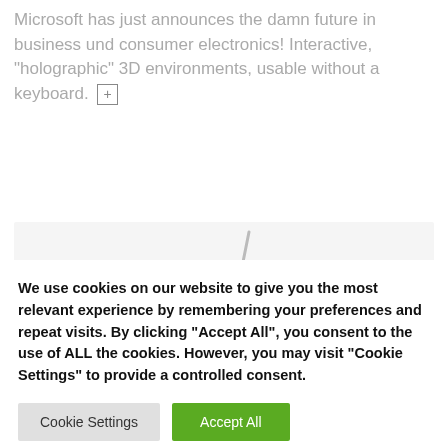Microsoft has just announces the damn future in business und consumer electronics! Interactive, "holographic" 3D environments, usable without a keyboard. [+]
[Figure (other): Partial view of a bar/pie chart with a blue rectangle bar on the left, a grey diagonal divider line in the center, and a red-purple semicircle on the right with the number 13 labeled above it, on a light grey background.]
We use cookies on our website to give you the most relevant experience by remembering your preferences and repeat visits. By clicking "Accept All", you consent to the use of ALL the cookies. However, you may visit "Cookie Settings" to provide a controlled consent.